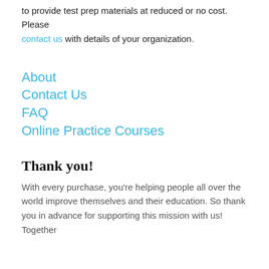If you are a volunteer or non-profit organization, we are happy to provide test prep materials at reduced or no cost.  Please contact us with details of your organization.
About
Contact Us
FAQ
Online Practice Courses
Thank you!
With every purchase, you're helping people all over the world improve themselves and their education. So thank you in advance for supporting this mission with us! Together